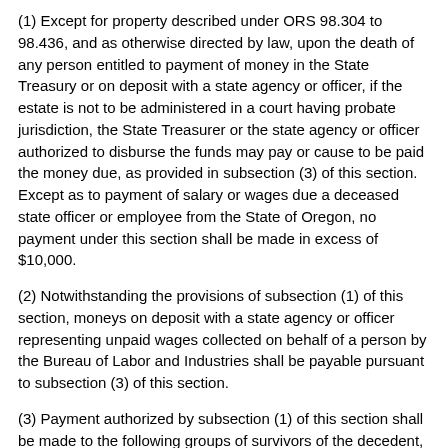(1) Except for property described under ORS 98.304 to 98.436, and as otherwise directed by law, upon the death of any person entitled to payment of money in the State Treasury or on deposit with a state agency or officer, if the estate is not to be administered in a court having probate jurisdiction, the State Treasurer or the state agency or officer authorized to disburse the funds may pay or cause to be paid the money due, as provided in subsection (3) of this section. Except as to payment of salary or wages due a deceased state officer or employee from the State of Oregon, no payment under this section shall be made in excess of $10,000.
(2) Notwithstanding the provisions of subsection (1) of this section, moneys on deposit with a state agency or officer representing unpaid wages collected on behalf of a person by the Bureau of Labor and Industries shall be payable pursuant to subsection (3) of this section.
(3) Payment authorized by subsection (1) of this section shall be made to the following groups of survivors of the decedent, their guardians or the conservators of their estates, in equal shares to all survivors in a group, and in the order listed, with no payment to survivors in any group if there is any survivor in any group preceding it as listed: